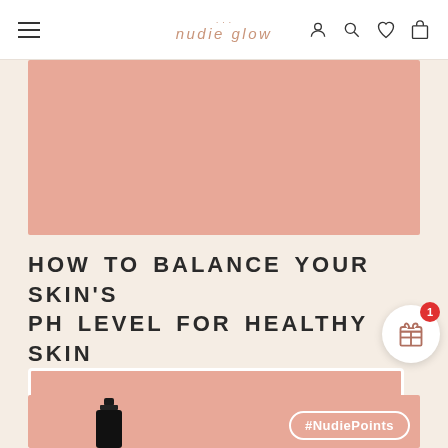NUDIE GLOW
[Figure (photo): Pink/salmon-colored hero image banner area for the article]
HOW TO BALANCE YOUR SKIN'S PH LEVEL FOR HEALTHY SKIN
[Figure (infographic): Toner Recommendations for the 7-Skin Method - pink promotional banner with white border and white text]
#NudiePoints